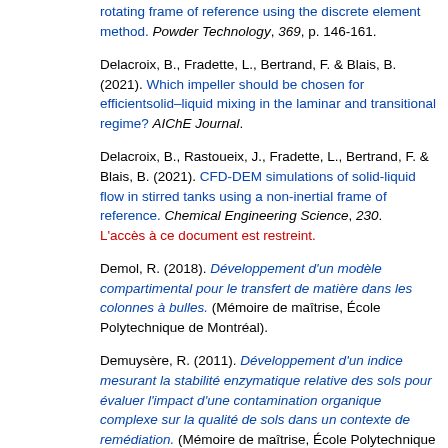rotating frame of reference using the discrete element method. Powder Technology, 369, p. 146-161.
Delacroix, B., Fradette, L., Bertrand, F. & Blais, B. (2021). Which impeller should be chosen for efficientsolid–liquid mixing in the laminar and transitional regime? AIChE Journal.
Delacroix, B., Rastoueix, J., Fradette, L., Bertrand, F. & Blais, B. (2021). CFD-DEM simulations of solid-liquid flow in stirred tanks using a non-inertial frame of reference. Chemical Engineering Science, 230. L'accès à ce document est restreint.
Demol, R. (2018). Développement d'un modèle compartimental pour le transfert de matière dans les colonnes à bulles. (Mémoire de maîtrise, École Polytechnique de Montréal).
Demuysère, R. (2011). Développement d'un indice mesurant la stabilité enzymatique relative des sols pour évaluer l'impact d'une contamination organique complexe sur la qualité de sols dans un contexte de remédiation. (Mémoire de maîtrise, École Polytechnique de Montréal).
Desaulniers, E. (2003). Modélisation de l'entassement de particules lors de procédés de...